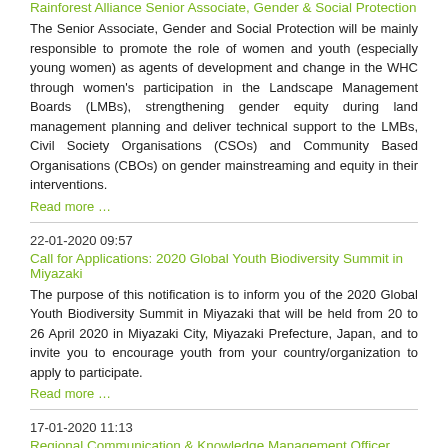Rainforest Alliance Senior Associate, Gender & Social Protection
The Senior Associate, Gender and Social Protection will be mainly responsible to promote the role of women and youth (especially young women) as agents of development and change in the WHC through women's participation in the Landscape Management Boards (LMBs), strengthening gender equity during land management planning and deliver technical support to the LMBs, Civil Society Organisations (CSOs) and Community Based Organisations (CBOs) on gender mainstreaming and equity in their interventions.
Read more …
22-01-2020 09:57
Call for Applications: 2020 Global Youth Biodiversity Summit in Miyazaki
The purpose of this notification is to inform you of the 2020 Global Youth Biodiversity Summit in Miyazaki that will be held from 20 to 26 April 2020 in Miyazaki City, Miyazaki Prefecture, Japan, and to invite you to encourage youth from your country/organization to apply to participate.
Read more …
17-01-2020 11:13
Regional Communication & Knowledge Management Officer Global Water Partnership-Central Africa (GWP-CAf)
To effectively and efficiently support its partners and CWPs in their work, and help expand GWP-CAf partnership base and implementation capacity, GWP-CAf is recruiting a Communications and Knowledge Management Officer who will be based at the GWP-CAf regional secretariat in Yaoundé. Applications must be submitted electronically no later than 5 pm (Cameroon time) on 31st January 2020.
Read more …
14-01-2020 13:42
Assessment of training needs in the field of natural resource management